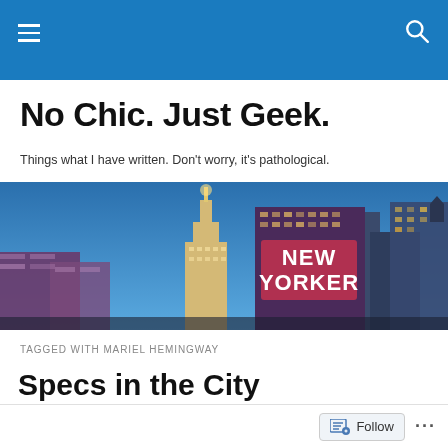No Chic. Just Geek. — navigation bar with hamburger menu and search icon
No Chic. Just Geek.
Things what I have written. Don't worry, it's pathological.
[Figure (photo): Nighttime skyline of New York City featuring the Empire State Building and the New Yorker hotel sign illuminated in red neon against a blue sky]
TAGGED WITH MARIEL HEMINGWAY
Specs in the City
Follow ...